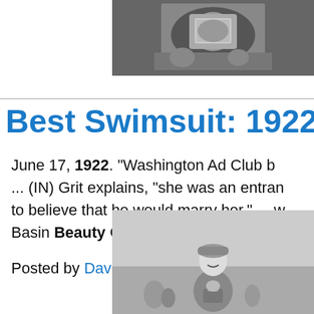[Figure (photo): Black and white photograph at top of page, partially visible, showing people outdoors]
Best Swimsuit: 1922
June 17, 1922. "Washington Ad Club b... ... (IN) Grit explains, "she was an entran... to believe that he would marry her." ... w... Basin Beauty Contest trophies, Rep. He...
Posted by Dave - 07/06/2018 - 10:18
[Figure (photo): Black and white photograph of a young woman in a 1920s swimsuit and cap, smiling, holding what appears to be a trophy, with crowd in background]